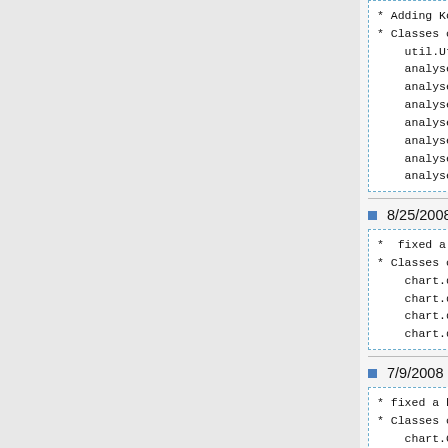* Adding KolmogorovSmirnoff to Analyses
* Classes changed:
    util.Utility(1.1)
    analyses.example.ExampleData(1.15)
    analyses.example.KolmogorovSmirnoffExample
    analyses.gui.KolmogorovSmirnoff (1.1)
    analyses.gui.Analysis(1.39)
    analyses.model.AnalysisType(1.12)
    analyses.model.KolmogorovSmirnof(1.1)
    analyses.result.KolmogorovSmirnofResult(1
8/25/2008 (Jenny Cui)
*  fixed a bug for 4 PowerTransformat charts
* Classes changed:
    chart.demo.PowerTransformationFamilyCha
    chart.demo.PowerTransformHistogramChart.
    chart.demo.PowerTransformQQNormalPlotCha
    chart.demo.PowerTransformXYScatterChart.
7/9/2008 (Jenny Cui)
* fixed a bug of showing "format data erro
* Classes changed:
    chart.Chart.java(1.30)
    chart.demo.SOCR_EM_MixtureModelChartDemo
7/8/2008 (Jenny Cui)
* application package updated